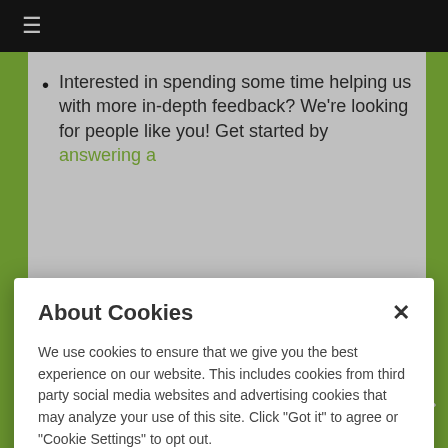≡
Interested in spending some time helping us with more in-depth feedback? We're looking for people like you! Get started by answering a
About Cookies
We use cookies to ensure that we give you the best experience on our website. This includes cookies from third party social media websites and advertising cookies that may analyze your use of this site. Click "Got it" to agree or "Cookie Settings" to opt out.
Cookie Notice
Got It
Cookies Settings